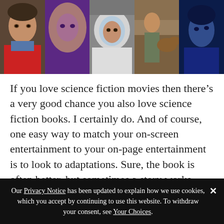[Figure (photo): A horizontal strip of five movie stills: (1) a young man in a red puffer vest, (2) a girl with purple-tinted lighting and long hair, (3) a child in a space helmet/suit, (4) a person in rocky terrain with a dog, (5) a woman with blue-tinted skin looking upward.]
If you love science fiction movies then there’s a very good chance you also love science fiction books. I certainly do. And of course, one easy way to match your on-screen entertainment to your on-page entertainment is to look to adaptations. Sure, the book is often better, but sometimes a story works brilliantly across both mediums. Ridley Scott’s The Martian is an equal match for Andy Weir’s novel. And I’ll be honest,
Our Privacy Notice has been updated to explain how we use cookies, which you accept by continuing to use this website. To withdraw your consent, see Your Choices.